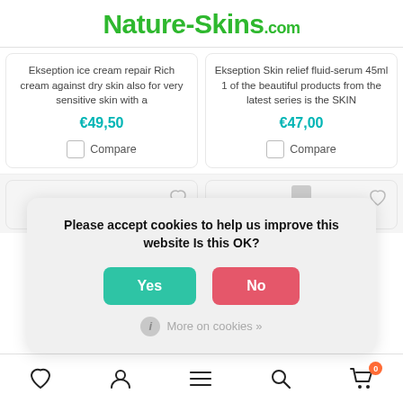Nature-Skins.com
Ekseption ice cream repair Rich cream against dry skin also for very sensitive skin with a
€49,50
Compare
Ekseption Skin relief fluid-serum 45ml 1 of the beautiful products from the latest series is the SKIN
€47,00
Compare
Please accept cookies to help us improve this website Is this OK?
Yes
No
More on cookies »
♡  👤  ☰  🔍  🛒 0